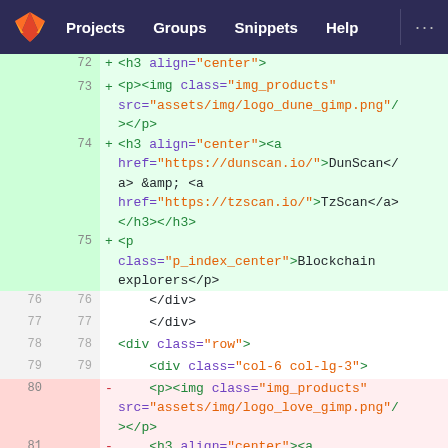[Figure (screenshot): GitLab navigation bar with logo, Projects, Groups, Snippets, Help links on dark blue background]
72  +        <h3 align="center">
73  +        <p><img class="img_products" src="assets/img/logo_dune_gimp.png"/></p>
74  +        <h3 align="center"><a href="https://dunscan.io/">DunScan</a> &amp; <a href="https://tzscan.io/">TzScan</a></h3></h3>
75  +        <p class="p_index_center">Blockchain explorers</p>
76  76     </div>
77  77     </div>
78  78     <div class="row">
79  79     <div class="col-6 col-lg-3">
80  -     <p><img class="img_products" src="assets/img/logo_love_gimp.png"/></p>
81  -     <h3 align="center"><a